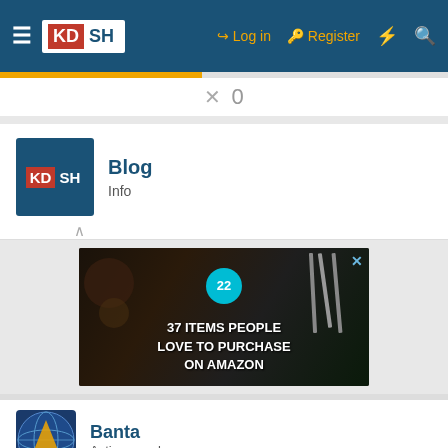KDSH — Log in  Register
0
Blog
Info
[Figure (photo): Advertisement banner: dark background with knives and food items. Teal circle badge showing '22'. Text overlay: '37 ITEMS PEOPLE LOVE TO PURCHASE ON AMAZON'. Blue X close button.]
Banta
Active member
Jun 23, 2022
CLOSE  #27
Nekro s